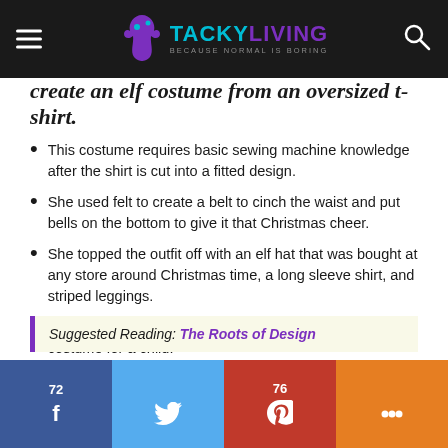TACKY LIVING — BECAUSE NORMAL IS BORING
create an elf costume from an oversized t-shirt.
This costume requires basic sewing machine knowledge after the shirt is cut into a fitted design.
She used felt to create a belt to cinch the waist and put bells on the bottom to give it that Christmas cheer.
She topped the outfit off with an elf hat that was bought at any store around Christmas time, a long sleeve shirt, and striped leggings.
This is a great and affordable way to create an elf costume for a child.
Suggested Reading: The Roots of Design
72 [Facebook] [Twitter] 76 [Pinterest] [More]